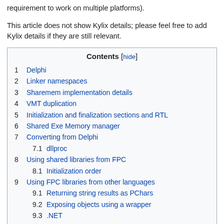requirement to work on multiple platforms).
This article does not show Kylix details; please feel free to add Kylix details if they are still relevant.
| Contents [hide] |
| --- |
| 1 Delphi |
| 2 Linker namespaces |
| 3 Sharemem implementation details |
| 4 VMT duplication |
| 5 Initialization and finalization sections and RTL |
| 6 Shared Exe Memory manager |
| 7 Converting from Delphi |
| 7.1 dllproc |
| 8 Using shared libraries from FPC |
| 8.1 Initialization order |
| 9 Using FPC libraries from other languages |
| 9.1 Returning string results as PChars |
| 9.2 Exposing objects using a wrapper |
| 9.3 .NET |
| 9.4 Java |
| 10 See also |